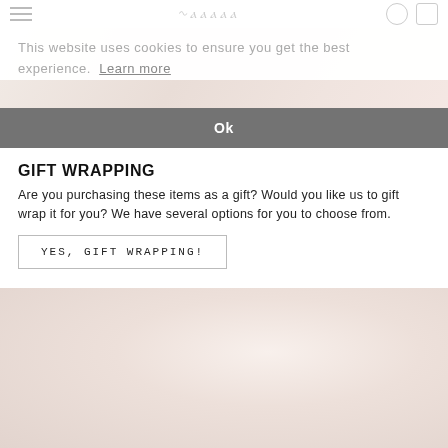This website uses cookies to ensure you get the best experience.  Learn more
Ok
[Figure (photo): Soft blurred background image, warm pinkish-cream tones, top portion of page]
GIFT WRAPPING
Are you purchasing these items as a gift? Would you like us to gift wrap it for you? We have several options for you to choose from.
YES, GIFT WRAPPING!
[Figure (photo): Soft blurred background image, warm cream and silver tones, bottom portion of page]